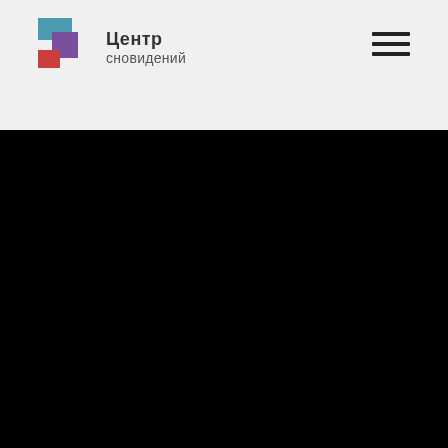[Figure (logo): Logo of 'Центр сновидений' (Dream Center) with colorful geometric squares icon and Russian text, plus hamburger menu icon in top right]
[Figure (photo): Large black/very dark image area occupying the bottom portion of the page]